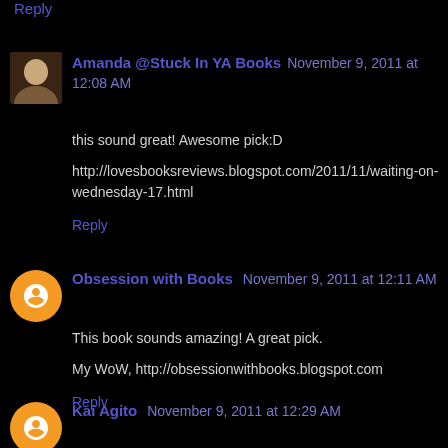Reply
Amanda @Stuck In YA Books November 9, 2011 at 12:08 AM
this sound great! Awesome pick:D
http://lovesbooksreviews.blogspot.com/2011/11/waiting-on-wednesday-17.html
Reply
Obsession with Books November 9, 2011 at 12:11 AM
This book sounds amazing! A great pick.
My WoW, http://obsessionwithbooks.blogspot.com
Reply
Kai Agito November 9, 2011 at 12:29 AM